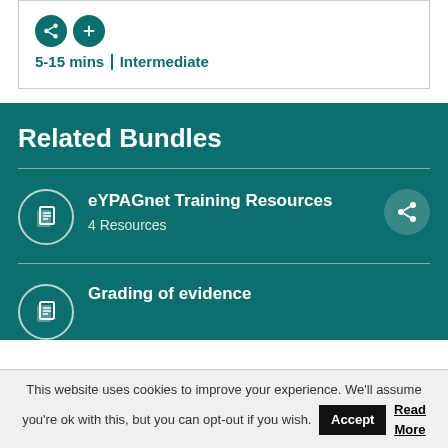5-15 mins | Intermediate
Related Bundles
eYPAGnet Training Resources — 4 Resources
Grading of evidence
This website uses cookies to improve your experience. We'll assume you're ok with this, but you can opt-out if you wish. Accept Read More